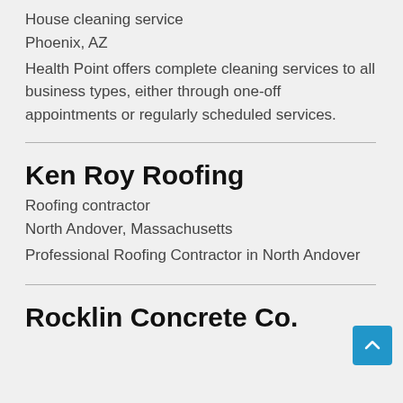House cleaning service
Phoenix, AZ
Health Point offers complete cleaning services to all business types, either through one-off appointments or regularly scheduled services.
Ken Roy Roofing
Roofing contractor
North Andover, Massachusetts
Professional Roofing Contractor in North Andover
Rocklin Concrete Co.